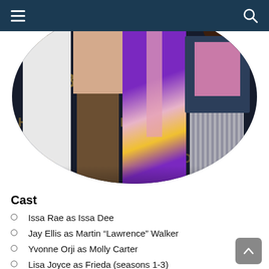Navigation bar with menu and search icons
[Figure (photo): Four cast members of Insecure posing in front of an HBO backdrop. From left: a person in a white coat, a person in a tan shirt and brown pants, a woman in a colorful purple/yellow/pink dress, and a man in a denim jacket and pink shirt.]
Cast
Issa Rae as Issa Dee
Jay Ellis as Martin “Lawrence” Walker
Yvonne Orji as Molly Carter
Lisa Joyce as Frieda (seasons 1-3)